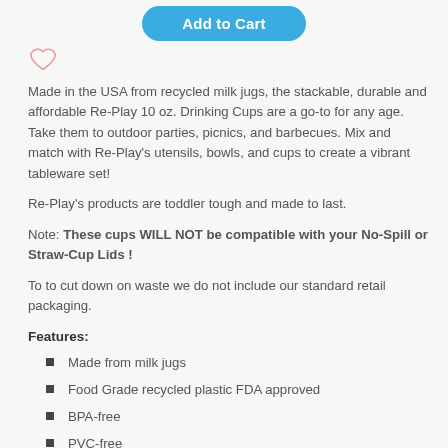[Figure (other): Add to Cart button (blue rounded rectangle with white text)]
[Figure (other): Heart/wishlist icon (pink outline heart)]
Made in the USA from recycled milk jugs, the stackable, durable and affordable Re-Play 10 oz. Drinking Cups are a go-to for any age. Take them to outdoor parties, picnics, and barbecues. Mix and match with Re-Play's utensils, bowls, and cups to create a vibrant tableware set!
Re-Play's products are toddler tough and made to last.
Note: These cups WILL NOT be compatible with your No-Spill or Straw-Cup Lids !
To to cut down on waste we do not include our standard retail packaging.
Features:
Made from milk jugs
Food Grade recycled plastic FDA approved
BPA-free
PVC-free